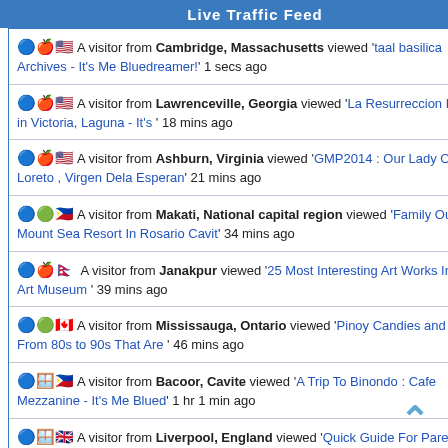Live Traffic Feed
🔵🍎🇺🇸 A visitor from Cambridge, Massachusetts viewed 'taal basilica Archives - It's Me Bluedreamer!' 1 secs ago
🔵🍎🇺🇸 A visitor from Lawrenceville, Georgia viewed 'La Resurreccion Parish in Victoria, Laguna - It's ' 18 mins ago
🔵🍎🇺🇸 A visitor from Ashburn, Virginia viewed 'GMP2014 : Our Lady Of Loreto , Virgen Dela Esperan' 21 mins ago
🔵🟢🇵🇭 A visitor from Makati, National capital region viewed 'Family Outing At Mount Sea Resort In Rosario Cavit' 34 mins ago
🔵🍎🇳🇵 A visitor from Janakpur viewed '25 Most Interesting Art Works In Pinto Art Museum ' 39 mins ago
🔵🟢🇨🇦 A visitor from Mississauga, Ontario viewed 'Pinoy Candies and Snacks From 80s to 90s That Are ' 46 mins ago
🔵🪟🇵🇭 A visitor from Bacoor, Cavite viewed 'A Trip To Binondo : Cafe Mezzanine - It's Me Blued' 1 hr 1 min ago
🔵🪟🇬🇧 A visitor from Liverpool, England viewed 'Quick Guide For Parents Looking To Purchase An Air'